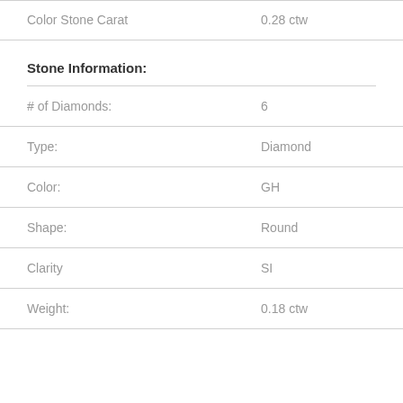| Property | Value |
| --- | --- |
| Color Stone Carat | 0.28 ctw |
Stone Information:
| Property | Value |
| --- | --- |
| # of Diamonds: | 6 |
| Type: | Diamond |
| Color: | GH |
| Shape: | Round |
| Clarity | SI |
| Weight: | 0.18 ctw |